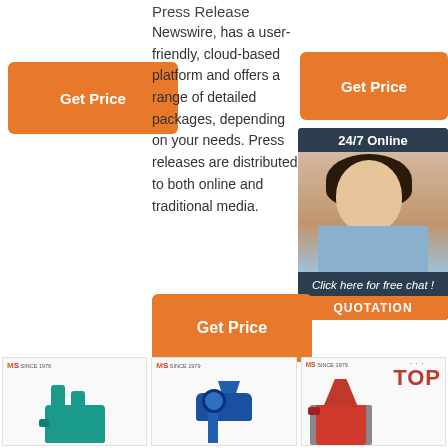Press Release
Newswire, has a user-friendly, cloud-based platform and offers a range of detailed packages, depending on your needs. Press releases are distributed to both online and traditional media.
[Figure (illustration): Orange 'Get Price' button on the left side]
[Figure (illustration): Orange 'Get Price' button on the upper right]
[Figure (illustration): Chat widget with '24/7 Online', photo of woman with headset, 'Click here for free chat!' text, and 'QUOTATION' orange button]
[Figure (illustration): Orange 'Get Price' button in the middle]
[Figure (illustration): Three product thumbnails at the bottom with MS SINCE 1979 logos and industrial machines including a red 'TOP' machine]
MS SINCE 1979 logo on machine thumbnails